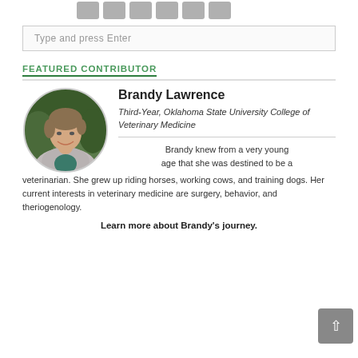[Figure (other): Row of six grey social media icon buttons at the top of the page]
Type and press Enter
FEATURED CONTRIBUTOR
[Figure (photo): Circular portrait photo of Brandy Lawrence, a woman in a grey blazer and teal shirt, smiling, with greenery in the background]
Brandy Lawrence
Third-Year, Oklahoma State University College of Veterinary Medicine
Brandy knew from a very young age that she was destined to be a veterinarian. She grew up riding horses, working cows, and training dogs. Her current interests in veterinary medicine are surgery, behavior, and theriogenology.
Learn more about Brandy's journey.